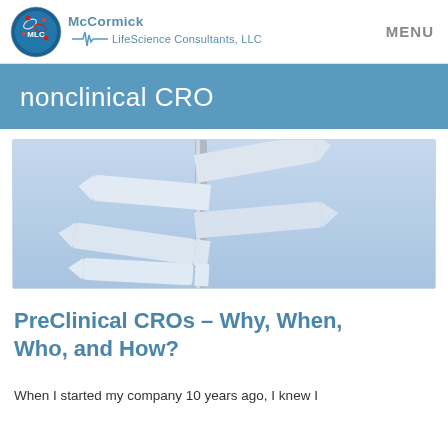McCormick LifeScience Consultants, LLC  MENU
nonclinical CRO
[Figure (photo): Illustration of a signpost with multiple blank white directional arrows pointing in different directions against a light blue sky background.]
PreClinical CROs – Why, When, Who, and How?
When I started my company 10 years ago, I knew I